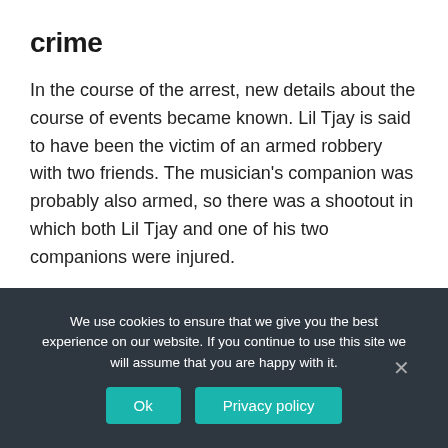crime
In the course of the arrest, new details about the course of events became known. Lil Tjay is said to have been the victim of an armed robbery with two friends. The musician's companion was probably also armed, so there was a shootout in which both Lil Tjay and one of his two companions were injured.
The rapper was probably even hit by several bullets and had to be operated on after the
We use cookies to ensure that we give you the best experience on our website. If you continue to use this site we will assume that you are happy with it.